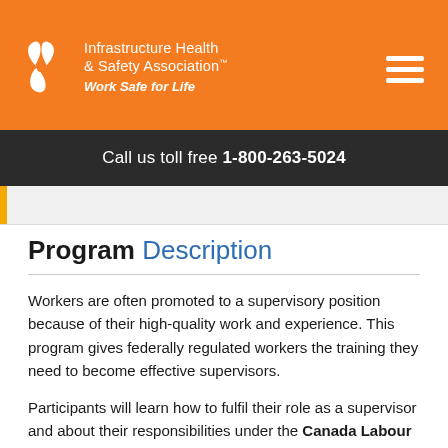[Figure (logo): Infrastructure Health & Safety Association logo with white icon and text on orange background, Work Safe for Life tagline]
Call us toll free 1-800-263-5024
Program Description
Workers are often promoted to a supervisory position because of their high-quality work and experience. This program gives federally regulated workers the training they need to become effective supervisors.
Participants will learn how to fulfil their role as a supervisor and about their responsibilities under the Canada Labour Code, Part II to manage health and safety in the workplace. Some the content includes: